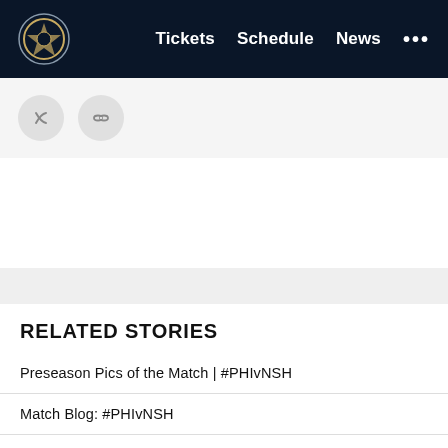Tickets  Schedule  News  ...
[Figure (logo): Philadelphia Union crest logo in navigation bar]
[Figure (illustration): Two social media share icons: a Twitter/share icon and a link icon, displayed as circular buttons on a light gray strip]
RELATED STORIES
Preseason Pics of the Match | #PHIvNSH
Match Blog: #PHIvNSH
Preseason Pics of the Match | #PHIvMTL